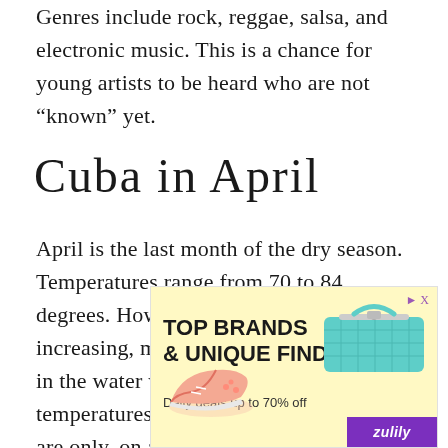Genres include rock, reggae, salsa, and electronic music. This is a chance for young artists to be heard who are not “known” yet.
Cuba in April
April is the last month of the dry season. Temperatures range from 70 to 84 degrees. However, the humidity starts increasing, making it feel hotter. Getting in the water will feel ideal, with water temperatures around 79 degrees. There are only, on average, five rainy days in Havana.
[Figure (other): Advertisement banner for Zulily: TOP BRANDS & UNIQUE FINDS, Daily deals up to 70% off, with images of pink shoes and a teal quilted bag, yellow background, purple logo bar.]